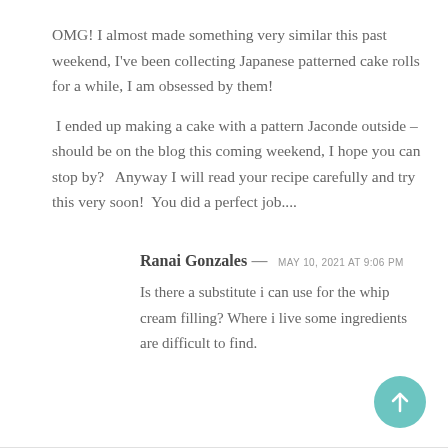OMG! I almost made something very similar this past weekend, I've been collecting Japanese patterned cake rolls for a while, I am obsessed by them!
I ended up making a cake with a pattern Jaconde outside – should be on the blog this coming weekend, I hope you can stop by?   Anyway I will read your recipe carefully and try this very soon!  You did a perfect job....
Ranai Gonzales — MAY 10, 2021 at 9:06 PM
Is there a substitute i can use for the whip cream filling? Where i live some ingredients are difficult to find.